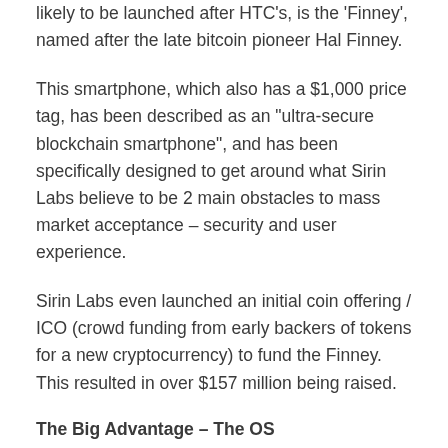likely to be launched after HTC's, is the 'Finney', named after the late bitcoin pioneer Hal Finney.
This smartphone, which also has a $1,000 price tag, has been described as an "ultra-secure blockchain smartphone", and has been specifically designed to get around what Sirin Labs believe to be 2 main obstacles to mass market acceptance – security and user experience.
Sirin Labs even launched an initial coin offering / ICO (crowd funding from early backers of tokens for a new cryptocurrency) to fund the Finney. This resulted in over $157 million being raised.
The Big Advantage – The OS